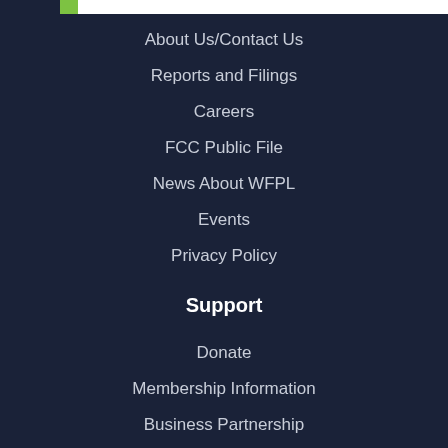About Us/Contact Us
Reports and Filings
Careers
FCC Public File
News About WFPL
Events
Privacy Policy
Support
Donate
Membership Information
Business Partnership
Volunteer
Shop